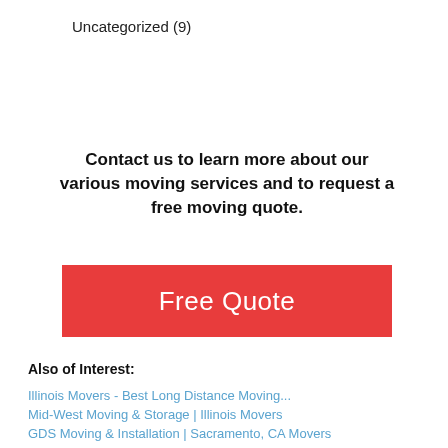Uncategorized (9)
Contact us to learn more about our various moving services and to request a free moving quote.
[Figure (other): Red button with white text reading 'Free Quote']
Also of Interest:
Illinois Movers - Best Long Distance Moving...
Mid-West Moving & Storage | Illinois Movers
GDS Moving & Installation | Sacramento, CA Movers